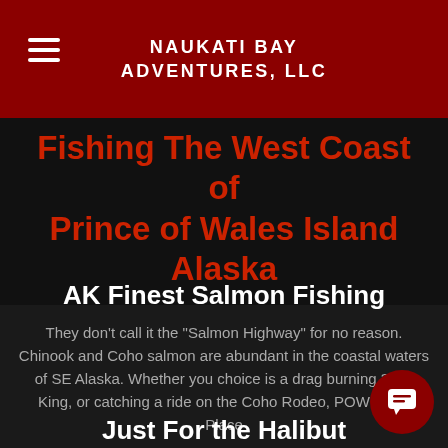NAUKATI BAY ADVENTURES, LLC
Fishing The West Coast of Prince of Wales Island Alaska
AK Finest Salmon Fishing
They don't call it the "Salmon Highway" for no reason. Chinook and Coho salmon are abundant in the coastal waters of SE Alaska. Whether you choice is a drag burning 30 lb King, or catching a ride on the Coho Rodeo, POW is the Place
Just For the Halibut